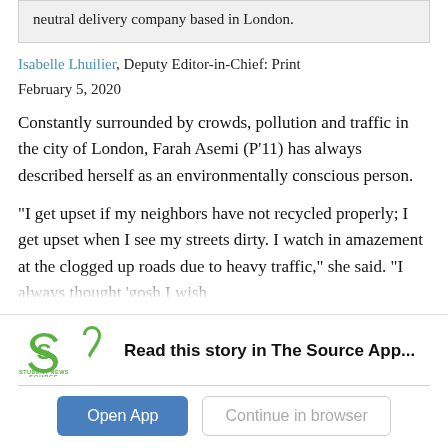neutral delivery company based in London.
Isabelle Lhuilier, Deputy Editor-in-Chief: Print
February 5, 2020
Constantly surrounded by crowds, pollution and traffic in the city of London, Farah Asemi (P’11) has always described herself as an environmentally conscious person.
“I get upset if my neighbors have not recycled properly; I get upset when I see my streets dirty. I watch in amazement at the clogged up roads due to heavy traffic,” she said. “I always thought ‘gosh I wish
[Figure (logo): Student News Source app logo - a stylized S in green]
Read this story in The Source App...
Open App | Continue in browser